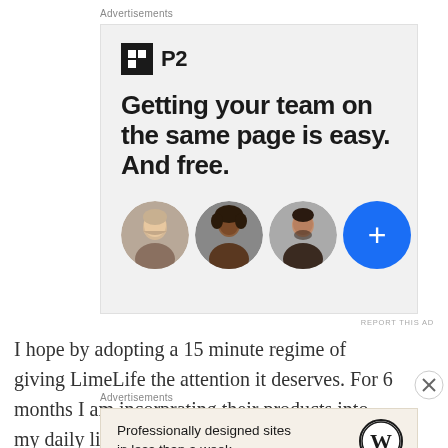Advertisements
[Figure (infographic): P2 advertisement with logo, tagline 'Getting your team on the same page is easy. And free.' and three person avatars plus a blue plus button]
REPORT THIS AD
I hope by adopting a 15 minute regime of giving LimeLife the attention it deserves. For 6 months I am incorprating their products into my daily life and I
Advertisements
[Figure (infographic): WordPress advertisement: Professionally designed sites in less than a week with WordPress logo]